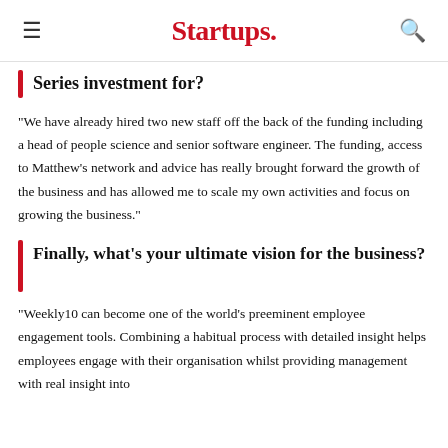Startups.
Series investment for?
“We have already hired two new staff off the back of the funding including a head of people science and senior software engineer. The funding, access to Matthew’s network and advice has really brought forward the growth of the business and has allowed me to scale my own activities and focus on growing the business.”
Finally, what’s your ultimate vision for the business?
“Weekly10 can become one of the world’s preeminent employee engagement tools. Combining a habitual process with detailed insight helps employees engage with their organisation whilst providing management with real insight into